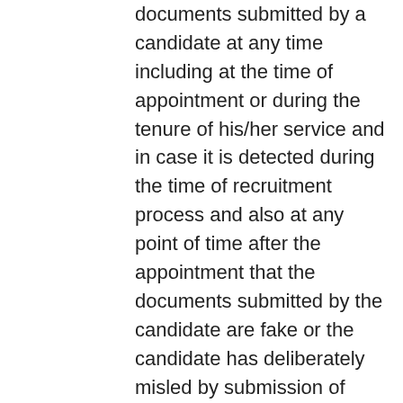documents submitted by a candidate at any time including at the time of appointment or during the tenure of his/her service and in case it is detected during the time of recruitment process and also at any point of time after the appointment that the documents submitted by the candidate are fake or the candidate has deliberately misled by submission of fake/ forged documents, his candidature/ service will be forthwith cancelled/ terminated without assigning any reason.
Incumbents to be appointed on final selection to this post are liable to be deputed amongst different locations of the University.
Incomplete application will not be entertained.